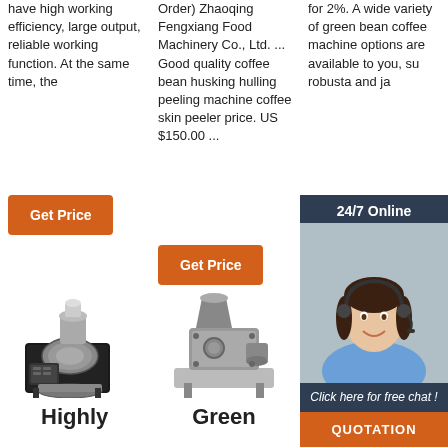have high working efficiency, large output, reliable working function. At the same time, the
Get Price
Order) Zhaoqing Fengxiang Food Machinery Co., Ltd. ... Good quality coffee bean husking hulling peeling machine coffee skin peeler price. US $150.00 ...
Get Price
for 2%. A wide variety of green bean coffee machine options are available to you, su robusta and ja
Get
[Figure (photo): Customer service representative woman wearing headset, smiling, with 24/7 Online label and chat widget]
Click here for free chat !
QUOTATION
[Figure (photo): Coffee roasting machine - black industrial coffee roaster]
[Figure (photo): Green bean hulling/grinding machine - silver industrial food processor]
[Figure (photo): Fava bean machine - silver compact food processing machine]
Highly
Green
Fava